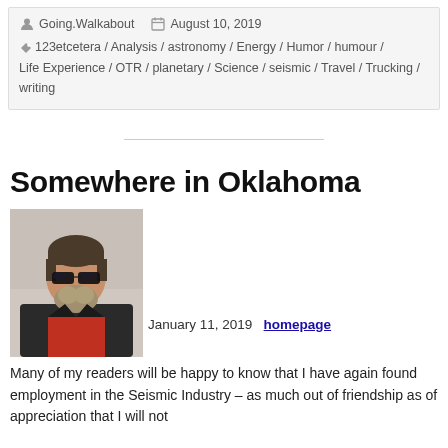Going.Walkabout   August 10, 2019
123etcetera / Analysis / astronomy / Energy / Humor / humour / Life Experience / OTR / planetary / Science / seismic / Travel / Trucking / writing
Somewhere in Oklahoma
[Figure (photo): Photo of a man wearing dark sunglasses and a beard, wearing a red shirt and dark jacket, taken indoors]
January 11, 2019   homepage
Many of my readers will be happy to know that I have again found employment in the Seismic Industry – as much out of friendship as of appreciation that I will not